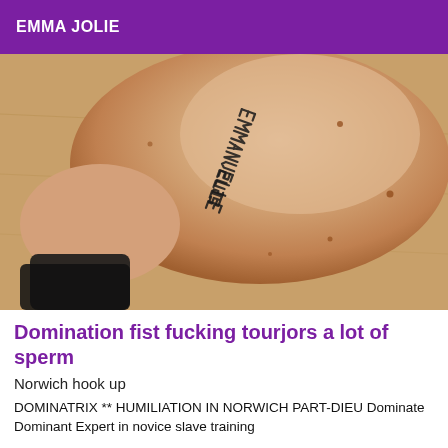EMMA JOLIE
[Figure (photo): Photo of a person's bare back/shoulder with handwritten text reading 'EMMANUELLE' and other writing on the skin, lying on a wooden surface with a black item in the lower left corner.]
Domination fist fucking tourjors a lot of sperm
Norwich hook up
DOMINATRIX ** HUMILIATION IN NORWICH PART-DIEU Dominate Dominant Expert in novice slave training